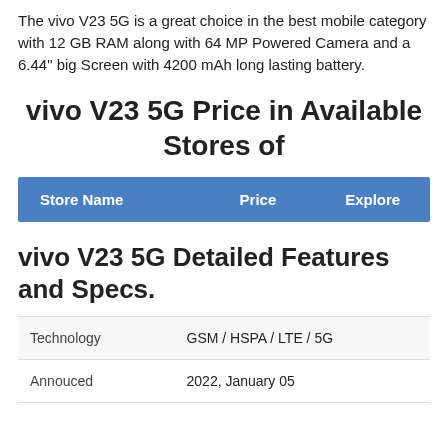The vivo V23 5G is a great choice in the best mobile category with 12 GB RAM along with 64 MP Powered Camera and a 6.44" big Screen with 4200 mAh long lasting battery.
vivo V23 5G Price in Available Stores of
| Store Name | Price | Explore |
| --- | --- | --- |
vivo V23 5G Detailed Features and Specs.
| Technology | Annouced |
| --- | --- |
| Technology | GSM / HSPA / LTE / 5G |
| Annouced | 2022, January 05 |